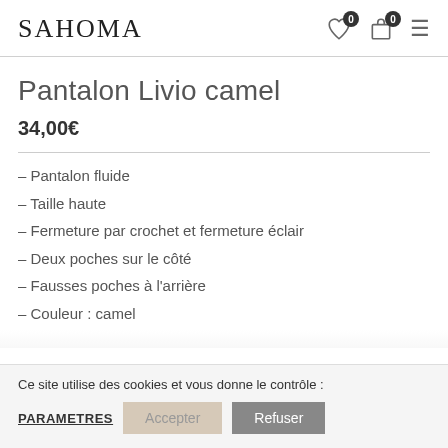SAHOMA
Pantalon Livio camel
34,00€
– Pantalon fluide
– Taille haute
– Fermeture par crochet et fermeture éclair
– Deux poches sur le côté
– Fausses poches à l'arrière
– Couleur : camel
Ce site utilise des cookies et vous donne le contrôle :
PARAMETRES  Accepter  Refuser